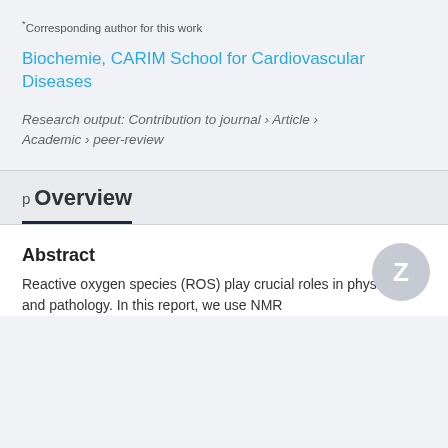*Corresponding author for this work
Biochemie, CARIM School for Cardiovascular Diseases
Research output: Contribution to journal › Article › Academic › peer-review
p Overview
Abstract
Reactive oxygen species (ROS) play crucial roles in physiology and pathology. In this report, we use NMR